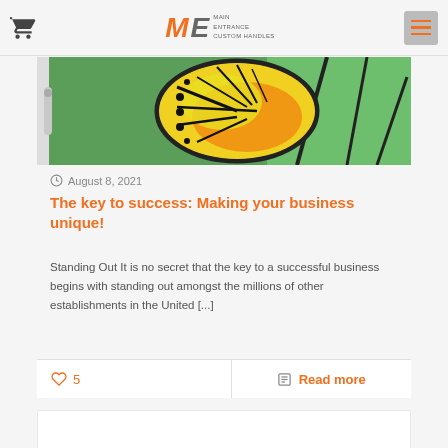Main Entrance Custom Handles
[Figure (photo): Close-up photo of a butterfly wing with yellow, green, and orange colors, appearing on a door handle or decorative panel]
August 8, 2021
The key to success: Making your business unique!
Standing Out  It is no secret that the key to a successful business begins with standing out amongst the millions of other establishments in the United [...]
♡ 5   Read more